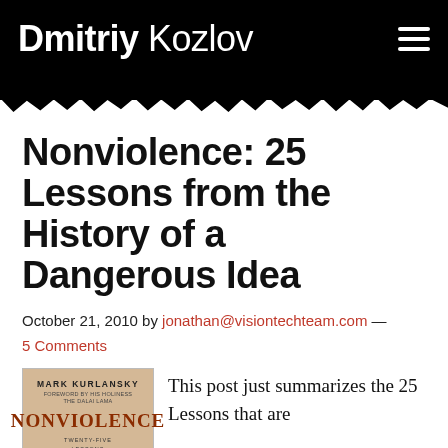Dmitriy Kozlov
Nonviolence: 25 Lessons from the History of a Dangerous Idea
October 21, 2010 by jonathan@visiontechteam.com — 5 Comments
[Figure (photo): Book cover of 'Nonviolence: Twenty-Five Lessons from the History of a Dangerous Idea' by Mark Kurlansky, with foreword by His Holiness the Dalai Lama. Tan/beige colored cover with red title text.]
This post just summarizes the 25 Lessons that are